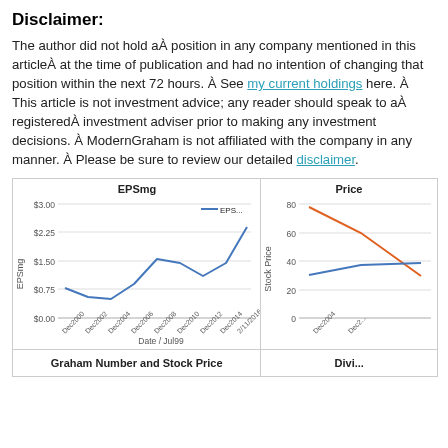Disclaimer:
The author did not hold aÂ position in any company mentioned in this articleÂ at the time of publication and had no intention of changing that position within the next 72 hours. Â See my current holdings here. Â This article is not investment advice; any reader should speak to aÂ registeredÂ investment adviser prior to making any investment decisions. Â ModernGraham is not affiliated with the company in any manner. Â Please be sure to review our detailed disclaimer.
[Figure (line-chart): EPSmg]
[Figure (line-chart): Partial price chart visible at right edge showing orange and blue lines, y-axis 0-80]
Graham Number and Stock Price
Divi...